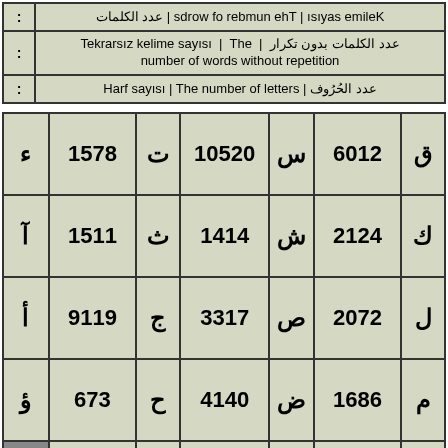| : | Kelime sayısı | The number of words | عدد الكلمات |
| : | Tekrarsız kelime sayısı | The | عدد الكلمات بدون تكرار
number of words without repetition |
| : | Harf sayısı | The number of letters | عدد الحُرُوف |
| ء | 1578 | ت | 10520 | س | 6012 | ق |
| --- | --- | --- | --- | --- | --- | --- |
| آ | 1511 | ث | 1414 | ش | 2124 | ك |
| أ | 9119 | ج | 3317 | ص | 2072 | ل |
| ؤ | 673 | ح | 4140 | ض | 1686 | م |
|  | ... |  | ... |  | ... |  |